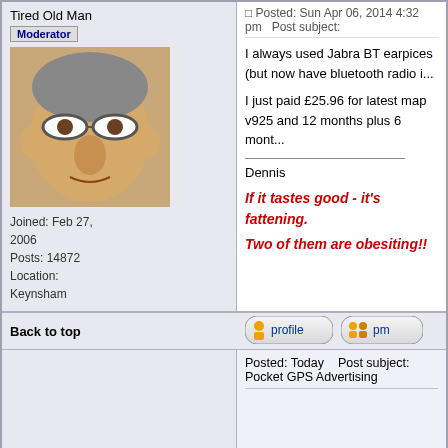Posted: Sun Apr 06, 2014 4:32 pm   Post subject:
Tired Old Man
Moderator
Joined: Feb 27, 2006
Posts: 14872
Location: Keynsham
I always used Jabra BT earpices (but now have bluetooth radio i...
I just paid £25.96 for latest map v925 and 12 months plus 6 mont...
Dennis
If it tastes good - it's fattening.
Two of them are obesiting!!
Back to top
Posted: Today   Post subject: Pocket GPS Advertising
Back to top
Display posts from previous:
Pocket GPS World Forum Index -> TomTom
Page 1 of 2